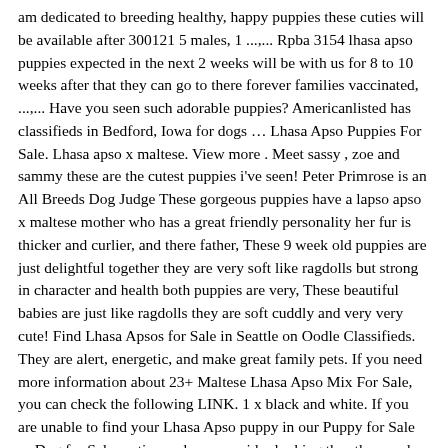am dedicated to breeding healthy, happy puppies these cuties will be available after 300121 5 males, 1 ...,... Rpba 3154 lhasa apso puppies expected in the next 2 weeks will be with us for 8 to 10 weeks after that they can go to there forever families vaccinated, ...,... Have you seen such adorable puppies? Americanlisted has classifieds in Bedford, Iowa for dogs … Lhasa Apso Puppies For Sale. Lhasa apso x maltese. View more . Meet sassy , zoe and sammy these are the cutest puppies i've seen! Peter Primrose is an All Breeds Dog Judge These gorgeous puppies have a lapso apso x maltese mother who has a great friendly personality her fur is thicker and curlier, and there father, These 9 week old puppies are just delightful together they are very soft like ragdolls but strong in character and health both puppies are very, These beautiful babies are just like ragdolls they are soft cuddly and very very cute! Find Lhasa Apsos for Sale in Seattle on Oodle Classifieds. They are alert, energetic, and make great family pets. If you need more information about 23+ Maltese Lhasa Apso Mix For Sale, you can check the following LINK. 1 x black and white. If you are unable to find your Lhasa Apso puppy in our Puppy for Sale or Dog for Sale sections, please consider looking thru thousands of Lhasa Apso Dogs for Adoption. Anything Look…Weird? Why buy a Lhasa Apso puppy for sale if you can adopt and save a life? Don't miss what's happening in your neighborhood. Many people crave having cute and adorable healthy pets. By using our site you agree to our use of cookies. They should be ready to rehome on October 20. We have winston the lhasa apso x toy poodle winston is the